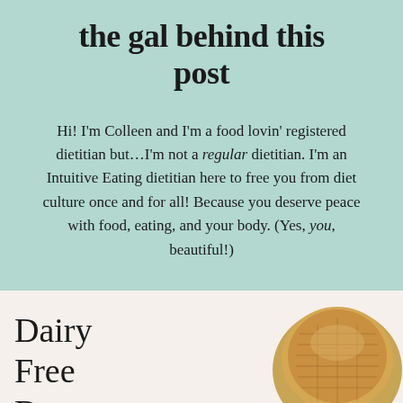the gal behind this post
Hi! I'm Colleen and I'm a food lovin' registered dietitian but…I'm not a regular dietitian. I'm an Intuitive Eating dietitian here to free you from diet culture once and for all! Because you deserve peace with food, eating, and your body. (Yes, you, beautiful!)
Dairy Free Banana Bread
[Figure (photo): Circular cropped photo of banana bread loaf from above, showing golden-brown baked texture]
[Figure (infographic): Advertisement banner: GO BEYOND SAYING THANK YOU - Operation Gratitude - JOIN US, with photo of people in background]